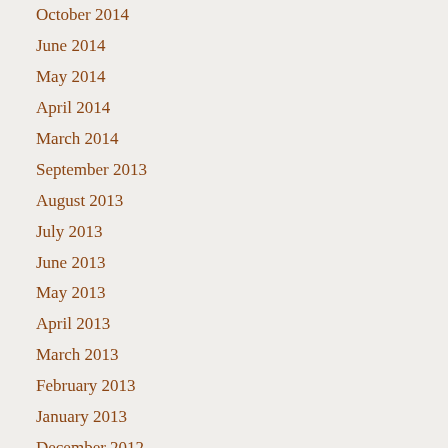October 2014
June 2014
May 2014
April 2014
March 2014
September 2013
August 2013
July 2013
June 2013
May 2013
April 2013
March 2013
February 2013
January 2013
December 2012
Categories
All
Arc Funbar